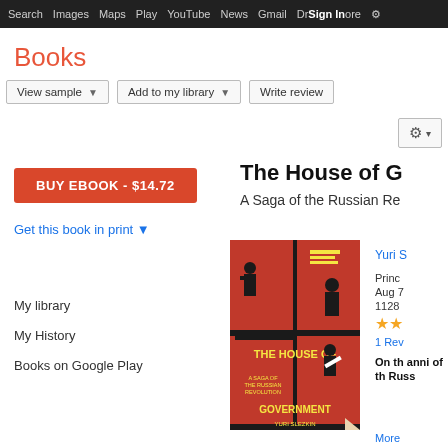Search  Images  Maps  Play  YouTube  News  Gmail  Drive  More  Sign In  ⚙
Books
View sample ▼  |  Add to my library ▼  |  Write review
BUY EBOOK - $14.72
The House of G
A Saga of the Russian Re
Get this book in print ▼
[Figure (photo): Book cover of The House of Government: A Saga of the Russian Revolution by Yuri Slezkine. Red and black constructivist artwork showing silhouetted figures.]
Yuri S
Princ
Aug 7
1128
★★
1 Rev
On th anni of th Russ
More
My library
My History
Books on Google Play